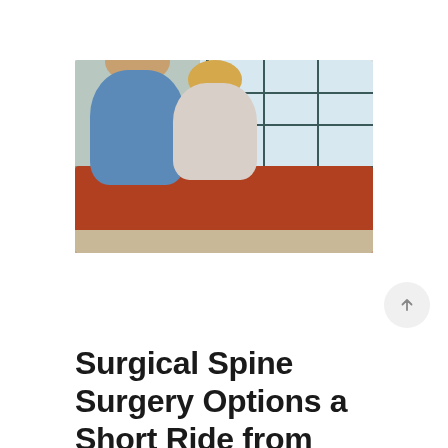[Figure (photo): Middle-aged couple, a grey-haired man in a blue shirt and a blonde woman in a white top holding a remote control, sitting together on a red/orange leather sofa in a modern room with large dark-framed windows in the background.]
Surgical Spine Surgery Options a Short Ride from Shi…